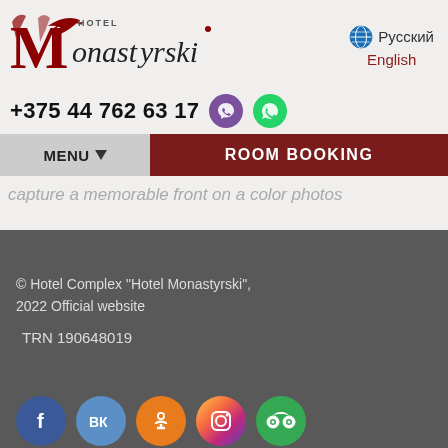[Figure (logo): Hotel Monastyrski decorative red/black logo with text 'HOTEL Monastyrski']
Русский
English
+375 44 762 63 17
MENU ▼   ROOM BOOKING
capture a memorable front on a color photos
© Hotel Complex "Hotel Monastyrski", 2022 Official website
TRN 190648019